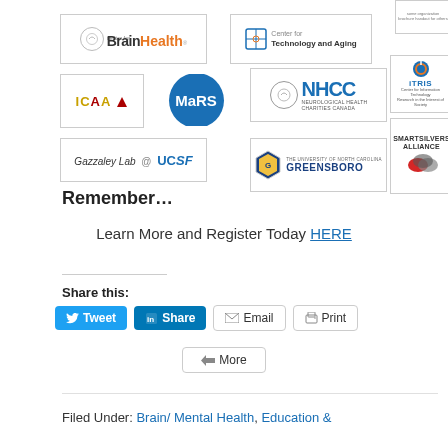[Figure (logo): Grid of organization logos including Center for Brain Health, Center for Technology and Aging, ICAA, MaRS, NHCC Neurological Health Charities Canada, CITRIS, Gazzaley Lab @ UCSF, University of North Carolina Greensboro, SmartSilvers Alliance]
Remember...
Learn More and Register Today HERE
Share this:
Tweet  Share  Email  Print
More
Filed Under: Brain/ Mental Health, Education &